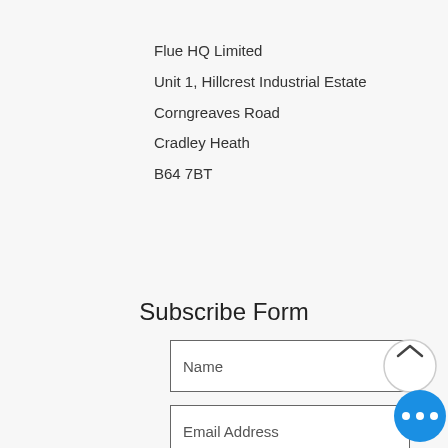Flue HQ Limited
Unit 1, Hillcrest Industrial Estate
Corngreaves Road
Cradley Heath
B64 7BT
Subscribe Form
[Figure (screenshot): Subscribe form with Name field, Email Address field, and Submit button]
Telephone:
Head Office  01213 929 14X
London       02078 466 5XX
Glasgow      01415 010 573
[Figure (illustration): Back-to-top button (up arrow in circle) and blue chat button with three dots]